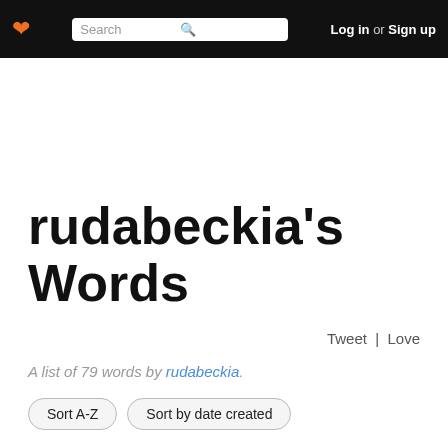❤ Search Log in or Sign up
rudabeckia's Words
Tweet | Love
A list of 79 words by rudabeckia.
Sort A-Z  Sort by date created
rink